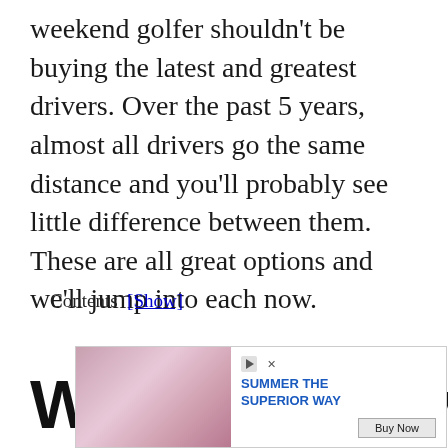weekend golfer shouldn't be buying the latest and greatest drivers. Over the past 5 years, almost all drivers go the same distance and you'll probably see little difference between them. These are all great options and we'll jump into each now.
Contents [Show]
What Is An Average
[Figure (other): Advertisement banner: image of people at a table with drinks on the left, text 'SUMMER THE SUPERIOR WAY' in blue on white background on the right, with a 'Buy Now' button and close/play icons.]